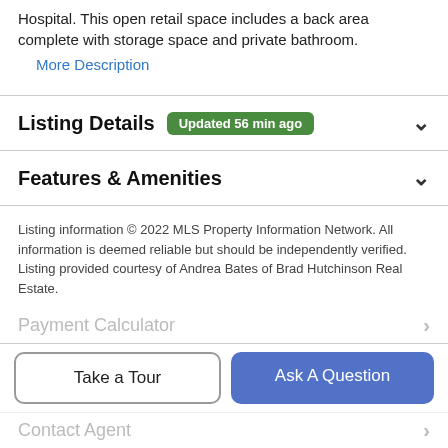Hospital. This open retail space includes a back area complete with storage space and private bathroom.
More Description
Listing Details  Updated 56 min ago
Features & Amenities
Listing information © 2022 MLS Property Information Network. All information is deemed reliable but should be independently verified. Listing provided courtesy of Andrea Bates of Brad Hutchinson Real Estate.
Schools
Payment Calculator
Take a Tour
Ask A Question
Contact Agent